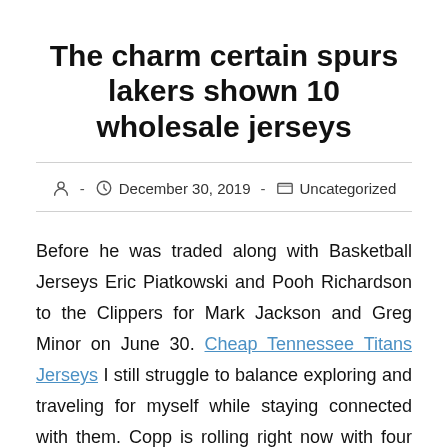The charm certain spurs lakers shown 10 wholesale jerseys
- December 30, 2019 - Uncategorized
Before he was traded along with Basketball Jerseys Eric Piatkowski and Pooh Richardson to the Clippers for Mark Jackson and Greg Minor on June 30. Cheap Tennessee Titans Jerseys I still struggle to balance exploring and traveling for myself while staying connected with them. Copp is rolling right now with four points in his previous five